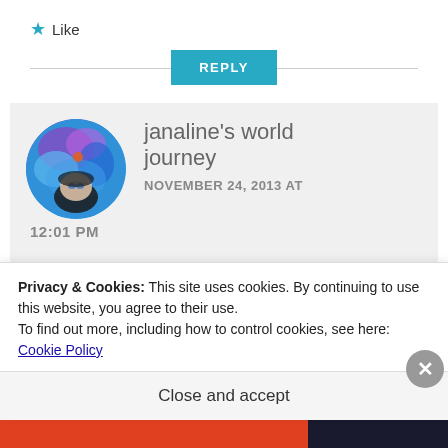★ Like
REPLY
[Figure (photo): Circular avatar photo of user janaline's world journey showing a colorful blue/purple artistic portrait]
janaline's world journey
NOVEMBER 24, 2013 AT 12:01 PM
Thank you! I loved the fountain,
Privacy & Cookies: This site uses cookies. By continuing to use this website, you agree to their use.
To find out more, including how to control cookies, see here: Cookie Policy
Close and accept